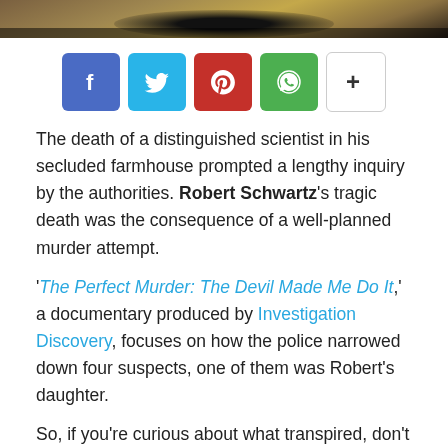[Figure (photo): Top portion of a photo showing a person, cropped to show top of head area with background texture]
[Figure (infographic): Social sharing buttons row: Facebook (blue), Twitter (light blue), Pinterest (red), WhatsApp (green), More/Plus (white with border)]
The death of a distinguished scientist in his secluded farmhouse prompted a lengthy inquiry by the authorities. Robert Schwartz's tragic death was the consequence of a well-planned murder attempt.
'The Perfect Murder: The Devil Made Me Do It,' a documentary produced by Investigation Discovery, focuses on how the police narrowed down four suspects, one of them was Robert's daughter.
So, if you're curious about what transpired, don't worry.
Recommended: Where is Clara Schwartz Now?